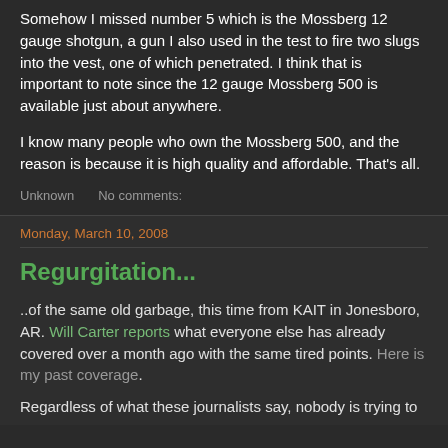Somehow I missed number 5 which is the Mossberg 12 gauge shotgun, a gun I also used in the test to fire two slugs into the vest, one of which penetrated. I think that is important to note since the 12 gauge Mossberg 500 is available just about anywhere.
I know many people who own the Mossberg 500, and the reason is because it is high quality and affordable. That's all.
Unknown   No comments:
Monday, March 10, 2008
Regurgitation...
..of the same old garbage, this time from KAIT in Jonesboro, AR. Will Carter reports what everyone else has already covered over a month ago with the same tired points. Here is my past coverage.
Regardless of what these journalists say, nobody is trying to